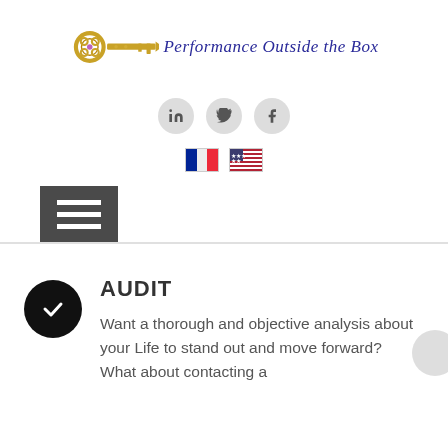[Figure (logo): Golden ornate key logo with text 'Performance Outside the Box' in blue italic script]
[Figure (infographic): Three social media icons in grey circles: LinkedIn, Twitter, Facebook]
[Figure (infographic): French flag and US flag icons for language selection]
[Figure (infographic): Dark grey hamburger menu button with three white horizontal lines]
AUDIT
Want a thorough and objective analysis about your Life to stand out and move forward?
What about contacting a